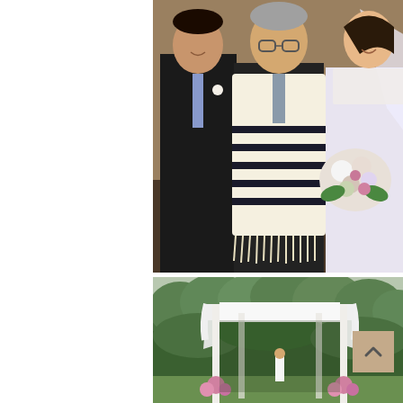[Figure (photo): Wedding photo showing a groom in a dark suit with blue tie and boutonniere on the left, an officiant (rabbi) in the center wearing a white tallit (prayer shawl) with black stripes, and a bride in a white lace gown holding a pink and white flower bouquet on the right. Indoor setting.]
[Figure (photo): Outdoor wedding ceremony setup showing a white chuppah (wedding canopy) decorated with white fabric and pink flowers at its base, set against a backdrop of green trees and bushes on a lawn.]